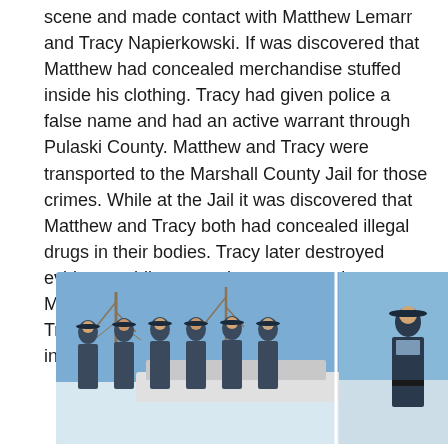scene and made contact with Matthew Lemarr and Tracy Napierkowski. If was discovered that Matthew had concealed merchandise stuffed inside his clothing. Tracy had given police a false name and had an active warrant through Pulaski County. Matthew and Tracy were transported to the Marshall County Jail for those crimes. While at the Jail it was discovered that Matthew and Tracy both had concealed illegal drugs in their bodies. Tracy later destroyed evidence while attempting to recover it. Matthew was charged with Theft and Trafficking. Tracy was charged with false informing, trafficking, and obstruction of justice.
[Figure (photo): Group photo of police officers in uniform standing outdoors near a vehicle, split into two panels showing approximately six officers on the left and one officer on the right]